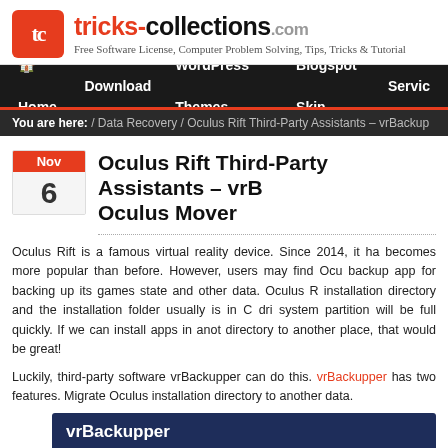[Figure (logo): tricks-collections.com logo with orange TC icon and tagline: Free Software License, Computer Problem Solving, Tips, Tricks & Tutorial]
Home   Download   WordPress Themes   Blogspot Skin   Servic
You are here: / Data Recovery / Oculus Rift Third-Party Assistants – vrBackup
Oculus Rift Third-Party Assistants – vrB Oculus Mover
Oculus Rift is a famous virtual reality device. Since 2014, it ha becomes more popular than before. However, users may find Ocu backup app for backing up its games state and other data. Oculus R installation directory and the installation folder usually is in C dri system partition will be full quickly. If we can install apps in anot directory to another place, that would be great!
Luckily, third-party software vrBackupper can do this. vrBackupper has two features. Migrate Oculus installation directory to another data.
[Figure (screenshot): vrBackupper application banner with dark blue background]